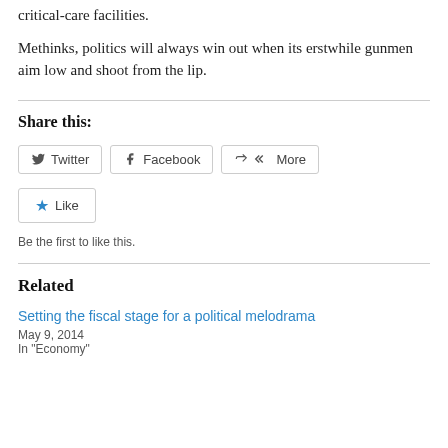critical-care facilities.
Methinks, politics will always win out when its erstwhile gunmen aim low and shoot from the lip.
Share this:
[Figure (other): Share buttons row: Twitter, Facebook, More]
[Figure (other): Like button with star icon]
Be the first to like this.
Related
Setting the fiscal stage for a political melodrama
May 9, 2014
In "Economy"